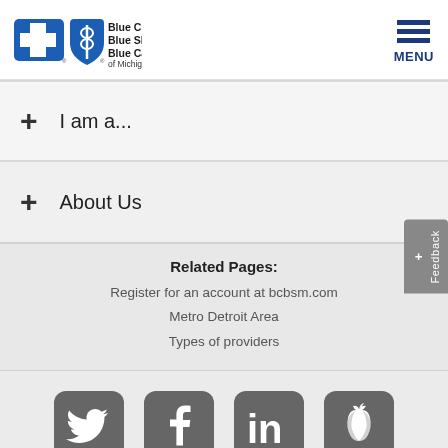[Figure (logo): Blue Cross Blue Shield Blue Care Network of Michigan logo with two shield icons and brand name text]
MENU
+ I am a...
+ About Us
Related Pages:
Register for an account at bcbsm.com
Metro Detroit Area
Types of providers
[Figure (infographic): Social media icons: Twitter, Facebook, LinkedIn, and a Michigan apple/health icon]